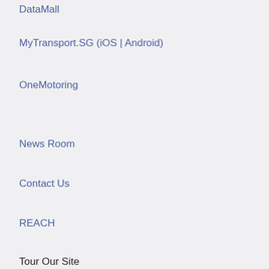DataMall
MyTransport.SG (iOS | Android)
OneMotoring
News Room
Contact Us
REACH
Tour Our Site
[Figure (illustration): Row of 7 social media icons: Facebook (dark blue circle), Instagram (gradient orange/pink/purple circle), TikTok (black circle), Twitter (light blue circle), Telegram (cyan circle), YouTube (red circle), LinkedIn (teal/blue circle)]
Report Vulnerability